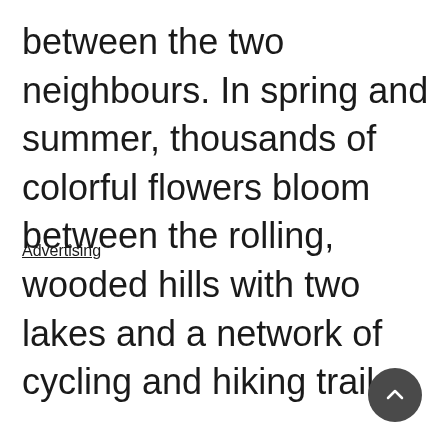between the two neighbours. In spring and summer, thousands of colorful flowers bloom between the rolling, wooded hills with two lakes and a network of cycling and hiking trails.
Advertising